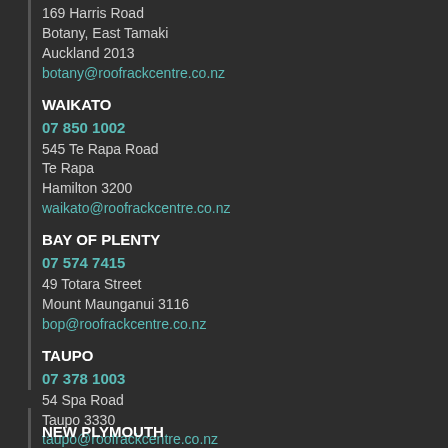169 Harris Road
Botany, East Tamaki
Auckland 2013
botany@roofrackcentre.co.nz
WAIKATO
07 850 1002
545 Te Rapa Road
Te Rapa
Hamilton 3200
waikato@roofrackcentre.co.nz
BAY OF PLENTY
07 574 7415
49 Totara Street
Mount Maunganui 3116
bop@roofrackcentre.co.nz
TAUPO
07 378 1003
54 Spa Road
Taupo 3330
taupo@roofrackcentre.co.nz
NEW PLYMOUTH